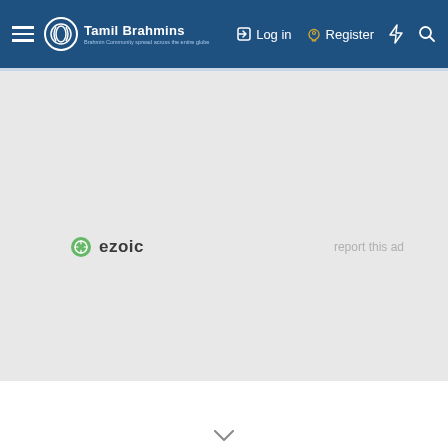Tamil Brahmins — Log in | Register
[Figure (screenshot): Ad placeholder area with ezoic branding logo and 'report this ad' text on grey background]
report this ad
ezoic